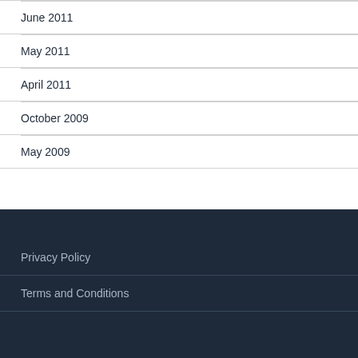June 2011
May 2011
April 2011
October 2009
May 2009
Privacy Policy
Terms and Conditions